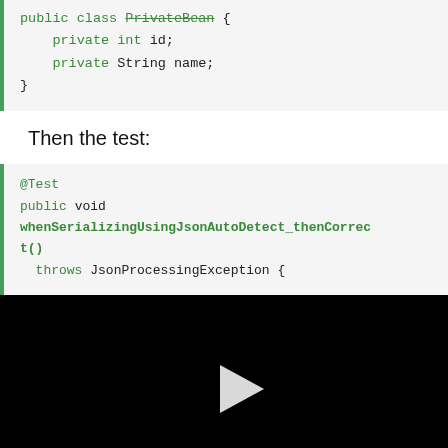public class PrivateBean {
    private int id;
    private String name;
}
Then the test:
@Test
public void whenSerializingUsingJsonAutoDetect_thenCorrect()
    throws JsonProcessingException {
[Figure (other): Black video player panel with a white play button triangle in the center]